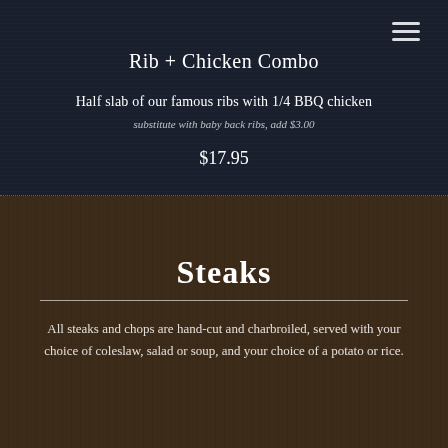Rib + Chicken Combo
Half slab of our famous ribs with 1/4 BBQ chicken
substitute with baby back ribs, add $3.00
$17.95
Steaks
All steaks and chops are hand-cut and charbroiled, served with your choice of coleslaw, salad or soup, and your choice of a potato or rice.